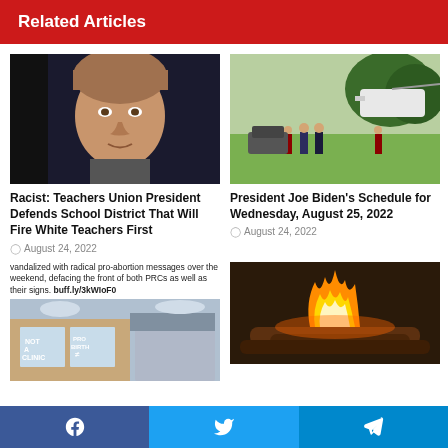Related Articles
[Figure (photo): Close-up photo of a middle-aged woman with brown hair against a blue background]
Racist: Teachers Union President Defends School District That Will Fire White Teachers First
August 24, 2022
[Figure (photo): People walking on a lawn near a helicopter, outdoor daytime scene]
President Joe Biden's Schedule for Wednesday, August 25, 2022
August 24, 2022
[Figure (photo): Vandalized building with pro-abortion messages, text reads: vandalized with radical pro-abortion messages over the weekend, defacing the front of both PRCs as well as their signs. buff.ly/3kWIoF0]
[Figure (photo): Fire burning outdoors, flames visible]